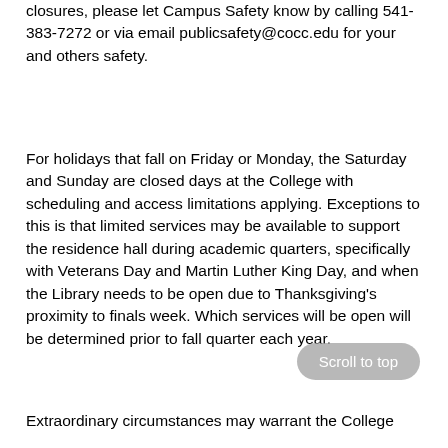closures, please let Campus Safety know by calling 541-383-7272 or via email publicsafety@cocc.edu for your and others safety.
For holidays that fall on Friday or Monday, the Saturday and Sunday are closed days at the College with scheduling and access limitations applying. Exceptions to this is that limited services may be available to support the residence hall during academic quarters, specifically with Veterans Day and Martin Luther King Day, and when the Library needs to be open due to Thanksgiving's proximity to finals week. Which services will be open will be determined prior to fall quarter each year.
Extraordinary circumstances may warrant the College